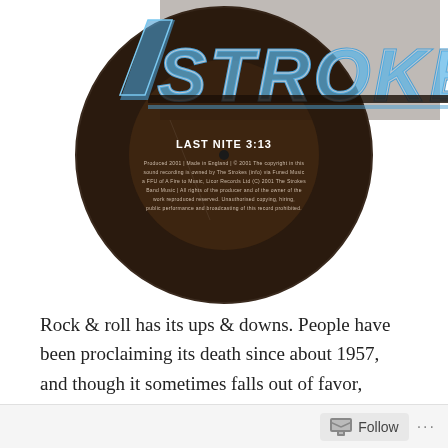[Figure (photo): A vinyl record label showing 'The Strokes' logo in blue and silver retro lettering at the top, and text reading 'LAST NITE 3:13' in the center dark label area, with additional small print text below.]
Rock & roll has its ups & downs. People have been proclaiming its death since about 1957, and though it sometimes falls out of favor, every few years a new artist emerges from the shadows only to find themselves dubbed the "saviour of rock & roll." In 2001, The Strokes were so anointed.
At the dawn of the millennium, there was certainly no shortage of rock, but somewhere along the line the roll
Follow